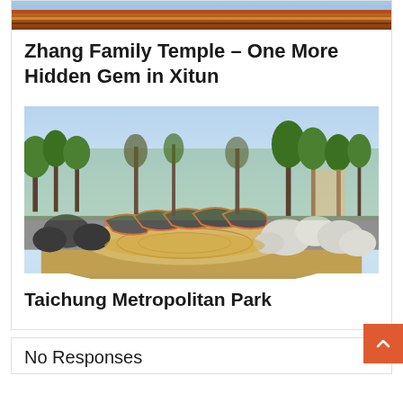[Figure (photo): Top strip of a colorful temple roof with red, blue and orange decorative elements]
Zhang Family Temple – One More Hidden Gem in Xitun
[Figure (photo): Outdoor park scene with large decorative rocks arranged in a circular sandy pattern, surrounded by trees]
Taichung Metropolitan Park
No Responses